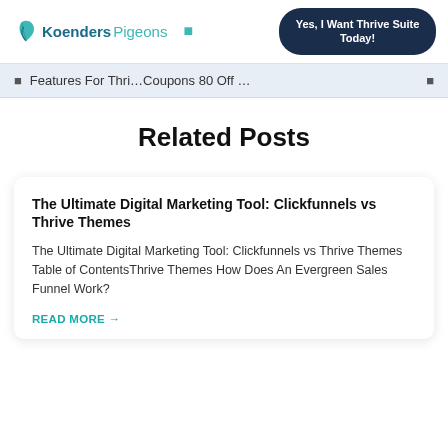KoendersPigeons | Yes, I Want Thrive Suite Today!
Features For Thri…Coupons 80 Off …
Related Posts
The Ultimate Digital Marketing Tool: Clickfunnels vs Thrive Themes
The Ultimate Digital Marketing Tool: Clickfunnels vs Thrive Themes Table of ContentsThrive Themes How Does An Evergreen Sales Funnel Work?
READ MORE →